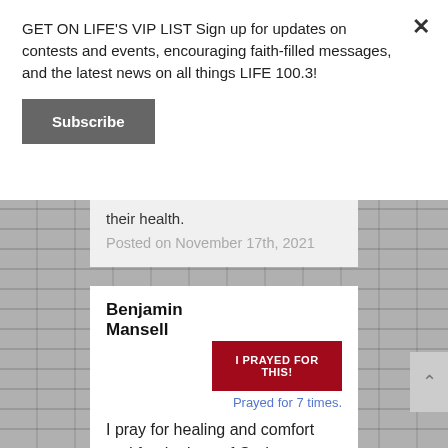GET ON LIFE'S VIP LIST Sign up for updates on contests and events, encouraging faith-filled messages, and the latest news on all things LIFE 100.3!
Subscribe
their health.
Posted on November 17th, 2021
Benjamin Mansell
I PRAYED FOR THIS!
Prayed for 7 times.
I pray for healing and comfort and for the love of God to surround me and for joy and love to fill my heart again. Manifest my loss and offer heart for...